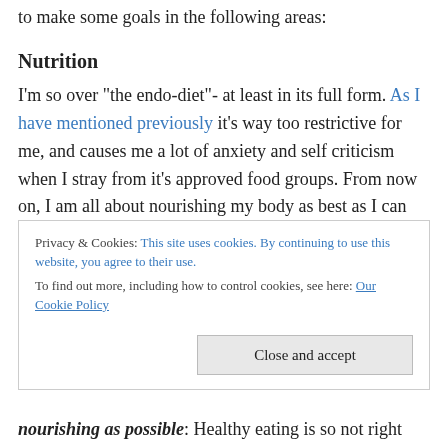to succeed at being the healthiest endo girl, I have decided to make some goals in the following areas:
Nutrition
I'm so over "the endo-diet"- at least in its full form. As I have mentioned previously it's way too restrictive for me, and causes me a lot of anxiety and self criticism when I stray from it's approved food groups. From now on, I am all about nourishing my body as best as I can with an abundance of healthy foods, rather than focusing on the foods that are 'forbidden'. I hope this will mean that I enjoy
Privacy & Cookies: This site uses cookies. By continuing to use this website, you agree to their use.
To find out more, including how to control cookies, see here: Our Cookie Policy
nourishing as possible: Healthy eating is so not right